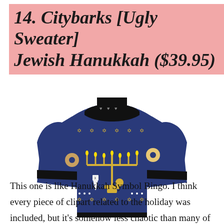14. Citybarks [Ugly Sweater] Jewish Hanukkah ($39.95)
[Figure (photo): A Hanukkah-themed ugly sweater on a navy blue background, featuring a large golden menorah in the center, surrounded by Stars of David, dreidels, donuts, and other Hanukkah symbols. The collar and cuffs are black with a pattern of hearts.]
This one is like Hanukkah Symbol Bingo. I think every piece of clipart related to the holiday was included, but it's somehow less chaotic than many of the others we've